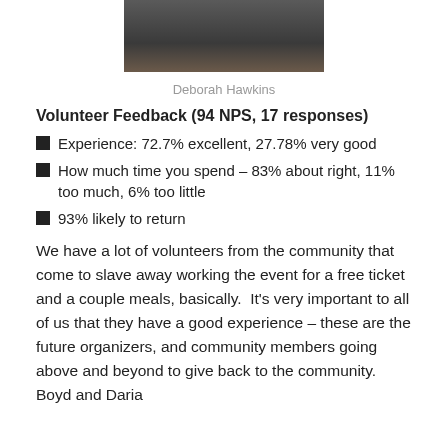[Figure (photo): Partial photo of a person standing, cropped at top of page]
Deborah Hawkins
Volunteer Feedback (94 NPS, 17 responses)
Experience: 72.7% excellent, 27.78% very good
How much time you spend – 83% about right, 11% too much, 6% too little
93% likely to return
We have a lot of volunteers from the community that come to slave away working the event for a free ticket and a couple meals, basically.  It's very important to all of us that they have a good experience – these are the future organizers, and community members going above and beyond to give back to the community.  Boyd and Daria